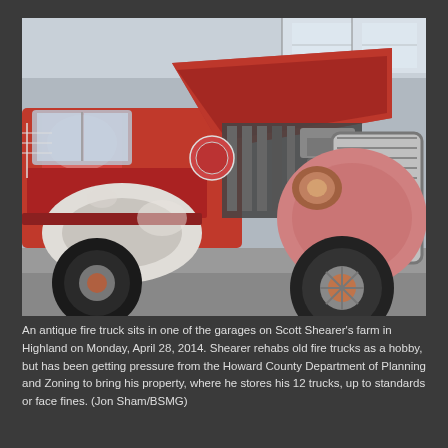[Figure (photo): An antique red fire truck with hood open, showing engine compartment, photographed in a garage. The truck has a chrome grille, rounded fenders, and shows signs of wear and rust.]
An antique fire truck sits in one of the garages on Scott Shearer's farm in Highland on Monday, April 28, 2014. Shearer rehabs old fire trucks as a hobby, but has been getting pressure from the Howard County Department of Planning and Zoning to bring his property, where he stores his 12 trucks, up to standards or face fines. (Jon Sham/BSMG)